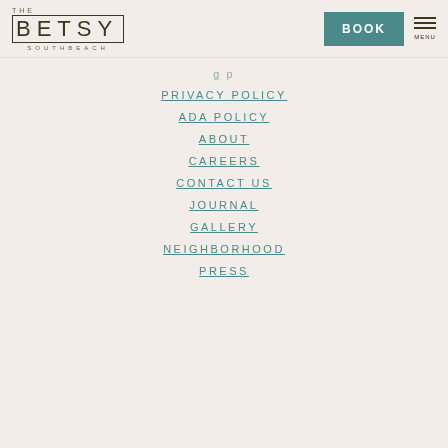THE BETSY SOUTHBEACH | BOOK | MENU
PRIVACY POLICY
ADA POLICY
ABOUT
CAREERS
CONTACT US
JOURNAL
GALLERY
NEIGHBORHOOD
PRESS